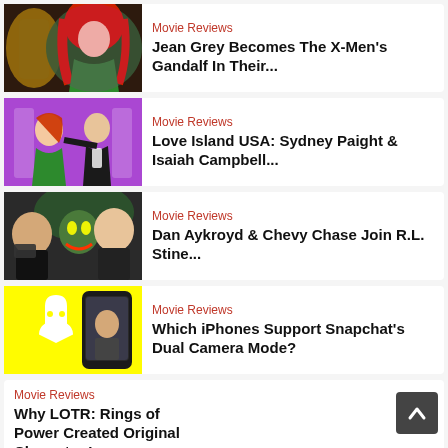[Figure (illustration): Comic art of Jean Grey (X-Men character with red hair in green outfit), thumbnail for article]
Movie Reviews
Jean Grey Becomes The X-Men's Gandalf In Their...
[Figure (photo): Two people in a TV show setting, Love Island USA thumbnail]
Movie Reviews
Love Island USA: Sydney Paight & Isaiah Campbell...
[Figure (photo): Dan Aykroyd and Chevy Chase with monster character, R.L. Stine article thumbnail]
Movie Reviews
Dan Aykroyd & Chevy Chase Join R.L. Stine...
[Figure (photo): Yellow Snapchat background with ghost logo and phone showing dual camera mode]
Movie Reviews
Which iPhones Support Snapchat's Dual Camera Mode?
Movie Reviews
Why LOTR: Rings of Power Created Original Character In...